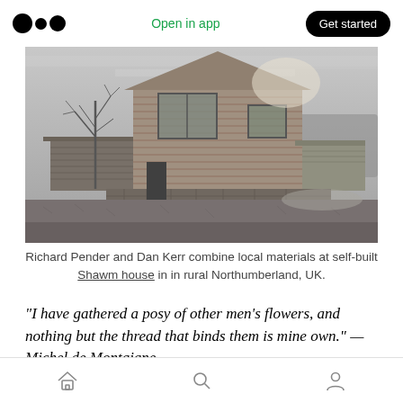Medium logo | Open in app | Get started
[Figure (photo): Black and white photograph of the Shawm house — a modern self-built structure clad in horizontal timber boards with large windows, set against a rural landscape in Northumberland, UK. A bare tree is visible to the left, and low stone walls border a grass field in the foreground.]
Richard Pender and Dan Kerr combine local materials at self-built Shawm house in in rural Northumberland, UK.
“I have gathered a posy of other men’s flowers, and nothing but the thread that binds them is mine own.” — Michel de Montaigne
Home | Search | Profile